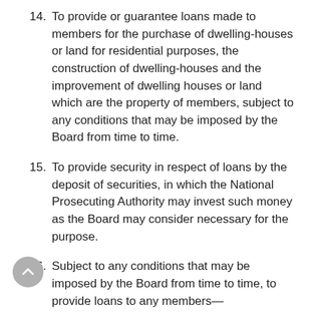14. To provide or guarantee loans made to members for the purchase of dwelling-houses or land for residential purposes, the construction of dwelling-houses and the improvement of dwelling houses or land which are the property of members, subject to any conditions that may be imposed by the Board from time to time.
15. To provide security in respect of loans by the deposit of securities, in which the National Prosecuting Authority may invest such money as the Board may consider necessary for the purpose.
16. Subject to any conditions that may be imposed by the Board from time to time, to provide loans to any members—